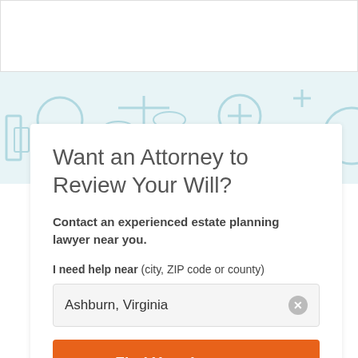[Figure (screenshot): White box at top of page, partial UI element]
[Figure (illustration): Light blue background with legal/law icon outlines pattern]
Want an Attorney to Review Your Will?
Contact an experienced estate planning lawyer near you.
I need help near (city, ZIP code or county)
Ashburn, Virginia
Find Your Lawyer >